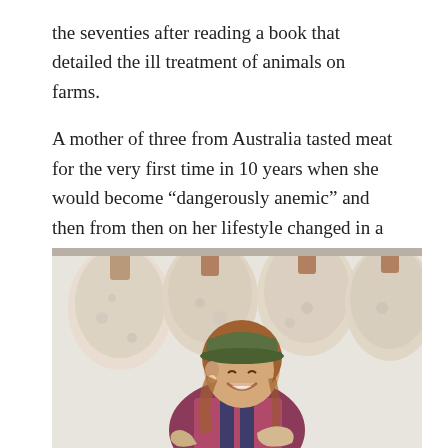the seventies after reading a book that detailed the ill treatment of animals on farms.
A mother of three from Australia tasted meat for the very first time in 10 years when she would become “dangerously anemic” and then from then on her lifestyle changed in a massive way.
[Figure (photo): A smiling woman wearing a green cap and plaid shirt with overalls, standing in front of several large cured meat legs hanging behind her.]